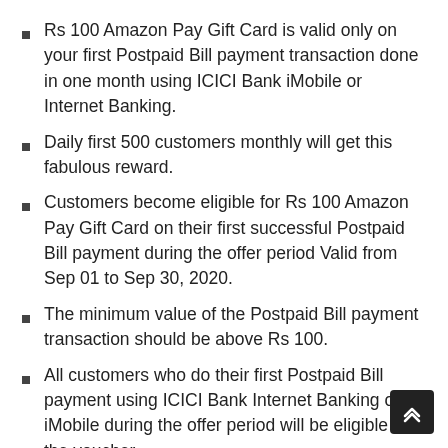Rs 100 Amazon Pay Gift Card is valid only on your first Postpaid Bill payment transaction done in one month using ICICI Bank iMobile or Internet Banking.
Daily first 500 customers monthly will get this fabulous reward.
Customers become eligible for Rs 100 Amazon Pay Gift Card on their first successful Postpaid Bill payment during the offer period Valid from Sep 01 to Sep 30, 2020.
The minimum value of the Postpaid Bill payment transaction should be above Rs 100.
All customers who do their first Postpaid Bill payment using ICICI Bank Internet Banking or iMobile during the offer period will be eligible for the voucher.
A customer is eligible for a maximum of 1 voucher during the offer period.